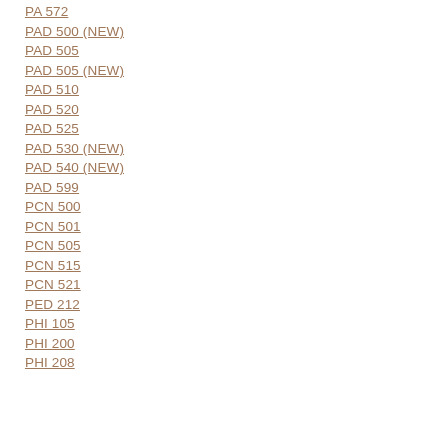PA 572
PAD 500 (NEW)
PAD 505
PAD 505 (NEW)
PAD 510
PAD 520
PAD 525
PAD 530 (NEW)
PAD 540 (NEW)
PAD 599
PCN 500
PCN 501
PCN 505
PCN 515
PCN 521
PED 212
PHI 105
PHI 200
PHI 208